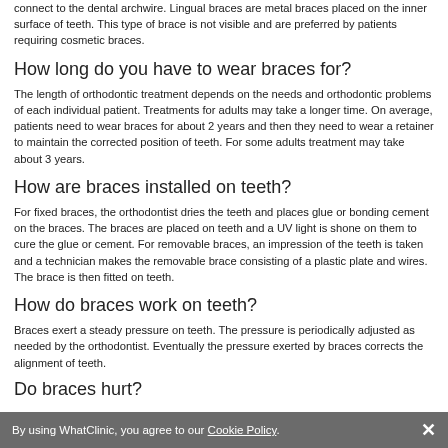connect to the dental archwire. Lingual braces are metal braces placed on the inner surface of teeth. This type of brace is not visible and are preferred by patients requiring cosmetic braces.
How long do you have to wear braces for?
The length of orthodontic treatment depends on the needs and orthodontic problems of each individual patient. Treatments for adults may take a longer time. On average, patients need to wear braces for about 2 years and then they need to wear a retainer to maintain the corrected position of teeth. For some adults treatment may take about 3 years.
How are braces installed on teeth?
For fixed braces, the orthodontist dries the teeth and places glue or bonding cement on the braces. The braces are placed on teeth and a UV light is shone on them to cure the glue or cement. For removable braces, an impression of the teeth is taken and a technician makes the removable brace consisting of a plastic plate and wires. The brace is then fitted on teeth.
How do braces work on teeth?
Braces exert a steady pressure on teeth. The pressure is periodically adjusted as needed by the orthodontist. Eventually the pressure exerted by braces corrects the alignment of teeth.
Do braces hurt?
By using WhatClinic, you agree to our Cookie Policy.